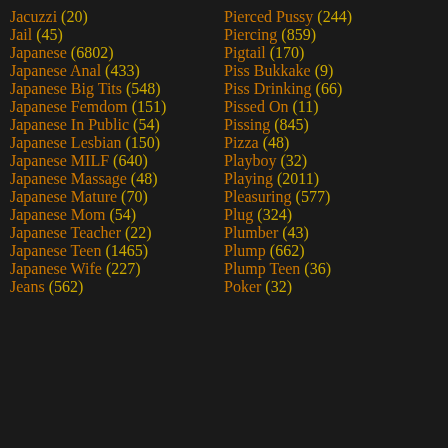Jacuzzi (20)
Jail (45)
Japanese (6802)
Japanese Anal (433)
Japanese Big Tits (548)
Japanese Femdom (151)
Japanese In Public (54)
Japanese Lesbian (150)
Japanese MILF (640)
Japanese Massage (48)
Japanese Mature (70)
Japanese Mom (54)
Japanese Teacher (22)
Japanese Teen (1465)
Japanese Wife (227)
Jeans (562)
Pierced Pussy (244)
Piercing (859)
Pigtail (170)
Piss Bukkake (9)
Piss Drinking (66)
Pissed On (11)
Pissing (845)
Pizza (48)
Playboy (32)
Playing (2011)
Pleasuring (577)
Plug (324)
Plumber (43)
Plump (662)
Plump Teen (36)
Poker (32)